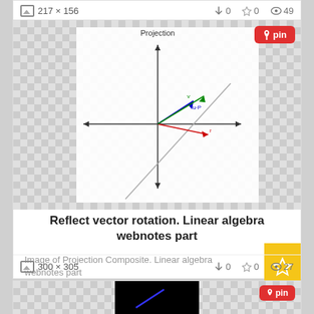217 × 156   ↓0  ☆0  👁 49
[Figure (illustration): Projection diagram showing coordinate axes with labeled vectors in blue, green, red on a checkerboard background. Title 'Projection' at top.]
pin
Reflect vector rotation. Linear algebra webnotes part
Image of Projection Composite. Linear algebra webnotes part
300 × 305   ↓0  ☆0  👁 27
[Figure (illustration): Black image with a blue diagonal line on a checkerboard background.]
pin